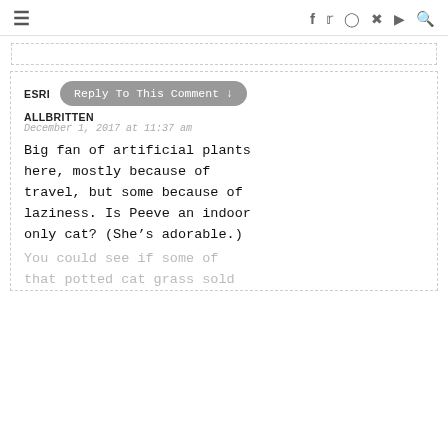≡  f  t  instagram  pinterest  youtube  search
[ad/form bar]
ESRI  Reply To This Comment ↓
ALLBRITTEN
December 1, 2017 at 11:37 am
Big fan of artificial plants here, mostly because of travel, but some because of laziness. Is Peeve an indoor only cat? (She's adorable.)
You could see if some of that potted cat grass sold